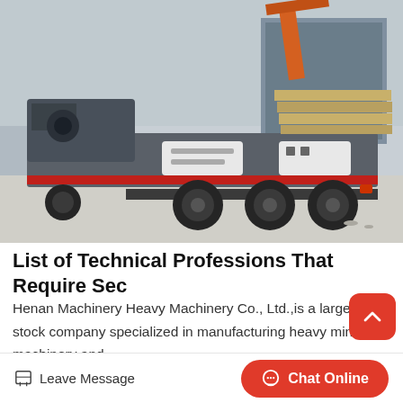[Figure (photo): A large mobile mining crusher/screening machine mounted on a semi-trailer, parked inside an industrial facility or yard. The machine is grey with a red stripe, carrying stacked yellow/tan components. Multiple axles and large tires are visible.]
List of Technical Professions That Require Sec
Henan Machinery Heavy Machinery Co., Ltd.,is a large joint-stock company specialized in manufacturing heavy mining machinery and